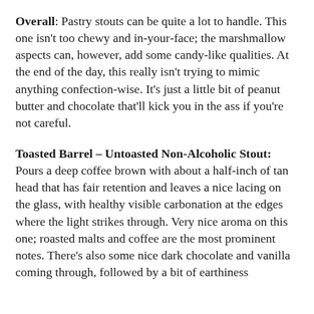Overall: Pastry stouts can be quite a lot to handle. This one isn't too chewy and in-your-face; the marshmallow aspects can, however, add some candy-like qualities. At the end of the day, this really isn't trying to mimic anything confection-wise. It's just a little bit of peanut butter and chocolate that'll kick you in the ass if you're not careful.
Toasted Barrel – Untoasted Non-Alcoholic Stout: Pours a deep coffee brown with about a half-inch of tan head that has fair retention and leaves a nice lacing on the glass, with healthy visible carbonation at the edges where the light strikes through. Very nice aroma on this one; roasted malts and coffee are the most prominent notes. There's also some nice dark chocolate and vanilla coming through, followed by a bit of earthiness